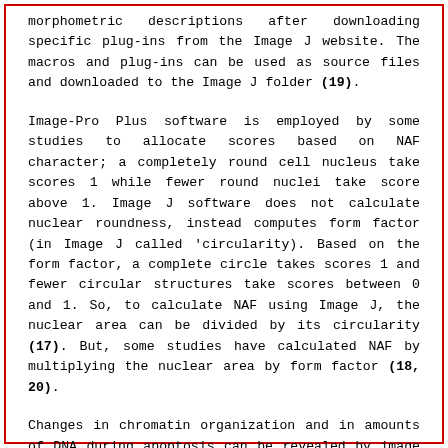morphometric descriptions after downloading specific plug-ins from the Image J website. The macros and plug-ins can be used as source files and downloaded to the Image J folder (19).
Image-Pro Plus software is employed by some studies to allocate scores based on NAF character; a completely round cell nucleus take scores 1 while fewer round nuclei take score above 1. Image J software does not calculate nuclear roundness, instead computes form factor (in Image J called 'circularity). Based on the form factor, a complete circle takes scores 1 and fewer circular structures take scores between 0 and 1. So, to calculate NAF using Image J, the nuclear area can be divided by its circularity (17). But, some studies have calculated NAF by multiplying the nuclear area by form factor (18, 20).
Changes in chromatin organization and in amounts of DNA during apoptosis can be revealed by image analysis of stained nuclei. This analysis allows the determination of the early stages of apoptotic cell death by correlating slight